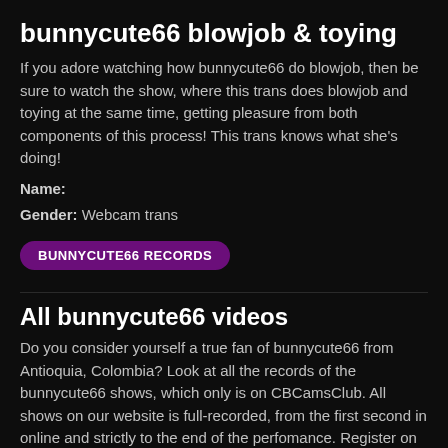bunnycute66 blowjob & toying
If you adore watching how bunnycute66 do blowjob, then be sure to watch the show, where this trans does blowjob and toying at the same time, getting pleasure from both components of this process! This trans knows what she's doing!
Name:
Gender: Webcam trans
BUNNYCUTE66 RECORDS
All bunnycute66 videos
Do you consider yourself a true fan of bunnycute66 from Antioquia, Colombia? Look at all the records of the bunnycute66 shows, which only is on CBCamsClub. All shows on our website is full-recorded, from the first second in online and strictly to the end of the perfomance. Register on our website and get unlimited access to all the videos of all webcams models on our website.